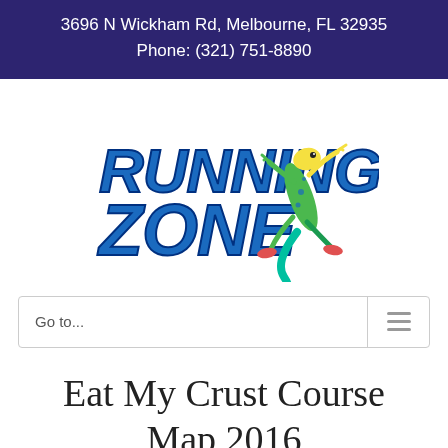3696 N Wickham Rd, Melbourne, FL 32935
Phone: (321) 751-8890
[Figure (logo): Running Zone logo with colorful gecko lizard illustration and bold blue italic text reading RUNNING ZONE]
Go to...
Eat My Crust Course Map 2016